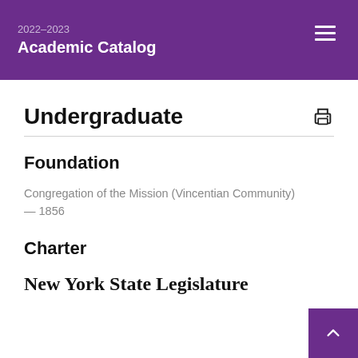2022-2023 Academic Catalog
Undergraduate
Foundation
Congregation of the Mission (Vincentian Community) — 1856
Charter
New York State Legislature